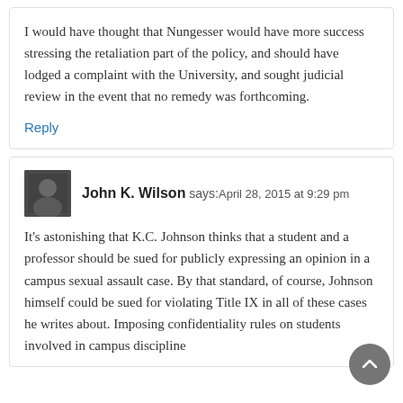I would have thought that Nungesser would have more success stressing the retaliation part of the policy, and should have lodged a complaint with the University, and sought judicial review in the event that no remedy was forthcoming.
Reply
John K. Wilson says: April 28, 2015 at 9:29 pm
It's astonishing that K.C. Johnson thinks that a student and a professor should be sued for publicly expressing an opinion in a campus sexual assault case. By that standard, of course, Johnson himself could be sued for violating Title IX in all of these cases he writes about. Imposing confidentiality rules on students involved in campus discipline